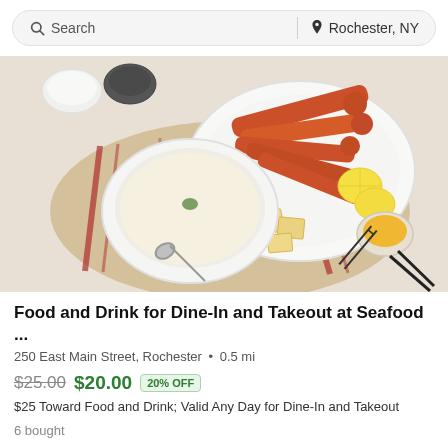Search  |  Rochester, NY
[Figure (photo): Overhead view of a seafood meal on a table setting: a bowl of creamy soup, a plate with crab legs and lemon slices, crackers, a small bowl of butter, a spoon and tongs, on a striped placemat.]
Food and Drink for Dine-In and Takeout at Seafood ...
250 East Main Street, Rochester  •  0.5 mi
$25.00  $20.00  20% OFF
$25 Toward Food and Drink; Valid Any Day for Dine-In and Takeout
6 bought